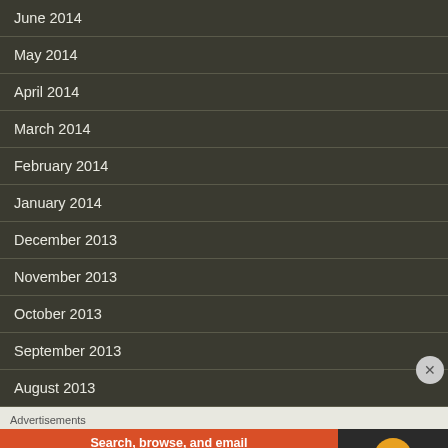June 2014
May 2014
April 2014
March 2014
February 2014
January 2014
December 2013
November 2013
October 2013
September 2013
August 2013
Advertisements
[Figure (infographic): DuckDuckGo advertisement banner: orange section with text 'Search, browse, and email with more privacy. All in One Free App' and dark section with DuckDuckGo duck logo]